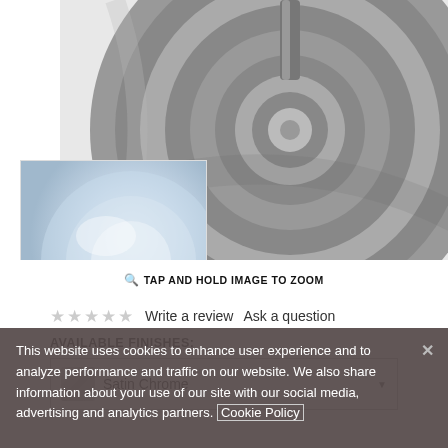[Figure (photo): Close-up product photo of a circular/spiral metal drain cover or knob in dark grey/silver tones, with a smaller thumbnail inset showing a lighter chrome finish version]
TAP AND HOLD IMAGE TO ZOOM
★★★★★  Write a review   Ask a question
AVAILABLE FINISHES:
Satin Chrome
This website uses cookies to enhance user experience and to analyze performance and traffic on our website. We also share information about your use of our site with our social media, advertising and analytics partners. Cookie Policy